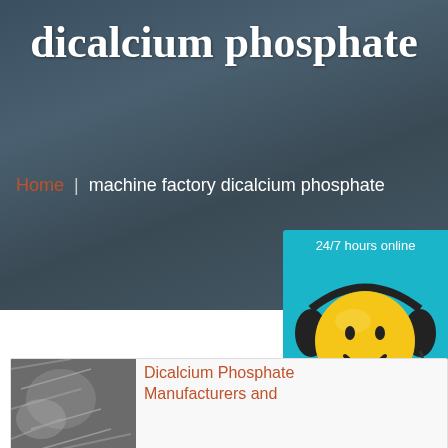dicalcium phosphate
Home | machine factory dicalcium phosphate
[Figure (illustration): Smiley face emoji wearing black headset/headphones with microphone, customer service mascot, on cyan/teal background]
24/7 hours online
Click me to chat >>
Enquiry
[Figure (photo): Animal fur or texture photo, partially visible at bottom left]
Dicalcium Phosphate Manufacturers and
superbrian707@gm